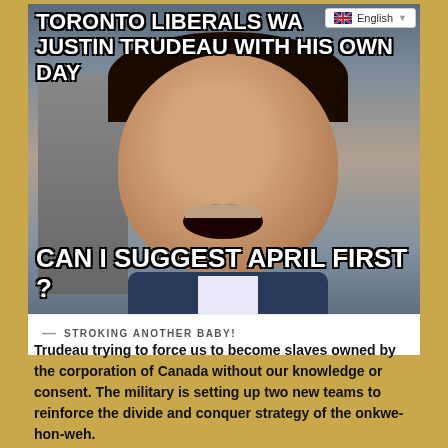[Figure (photo): Meme image showing a man laughing, with text overlay reading 'TORONTO LIBERALS WA... JUSTIN TRUDEAU WITH HIS OWN DAY' at top and 'CAN I SUGGEST APRIL FIRST?' at bottom. A UK flag language selector showing 'English' is visible in the top right corner.]
— STROKING ANOTHER BABY!
Trudeau trying to force us to become slaves owned by the corporation of Canada without our knowledge or consent. The military is setting up two new teams to reinforce the divide and conquer strategy of the onkwe-hon-weh.